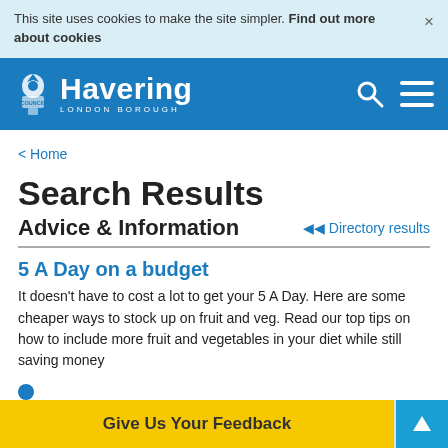This site uses cookies to make the site simpler. Find out more about cookies
Havering London Borough
< Home
Search Results
Advice & Information
Directory results
5 A Day on a budget
It doesn't have to cost a lot to get your 5 A Day. Here are some cheaper ways to stock up on fruit and veg. Read our top tips on how to include more fruit and vegetables in your diet while still saving money
Give Us Your Feedback